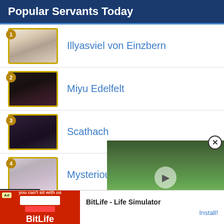Popular Servants Today
1 Illyasviel von Einzbern
2 Miyu Edelfelt
3 Scathach
4 Mysterious Heroine X (
[Figure (screenshot): Video overlay with play button over anime-style green field background, with close (X) button and Top button]
Menu
[Figure (other): Ad banner: BitLife - Life Simulator app advertisement with red game image and Install button]